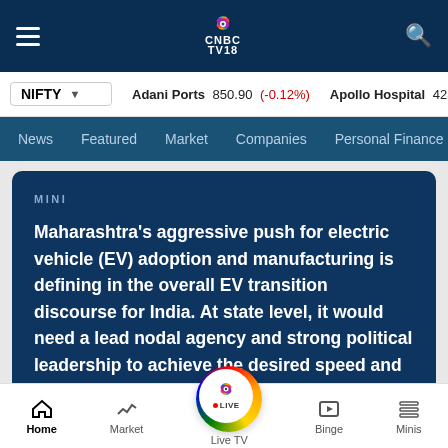CNBC TV18 - Navigation bar with hamburger menu, CNBC TV18 logo, and search icon
NIFTY ▾   Adani Ports 850.90 (-0.12%)   Apollo Hospital 4282.55 (-0...
News | Featured | Market | Companies | Personal Finance
MINI
Maharashtra's aggressive push for electric vehicle (EV) adoption and manufacturing is defining in the overall EV transition discourse for India. At state level, it would need a lead nodal agency and strong political leadership to achieve the desired speed and scale for its EV transition.
Home | Market | Live TV | Binge | Minis